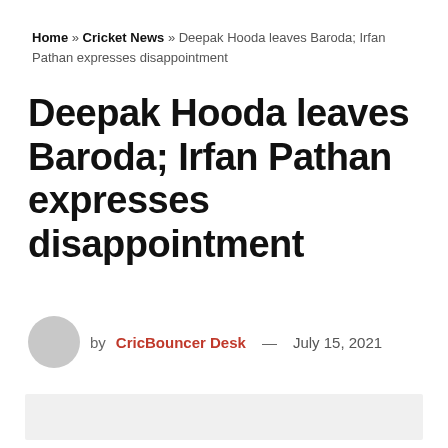Home » Cricket News » Deepak Hooda leaves Baroda; Irfan Pathan expresses disappointment
Deepak Hooda leaves Baroda; Irfan Pathan expresses disappointment
by CricBouncer Desk — July 15, 2021
[Figure (photo): Light grey placeholder image area]